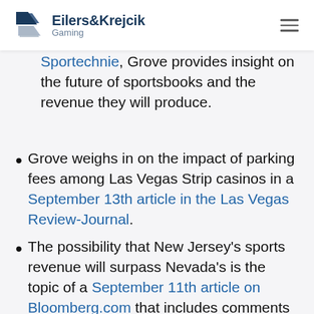Eilers&Krejcik Gaming
Sportechie, Grove provides insight on the future of sportsbooks and the revenue they will produce.
Grove weighs in on the impact of parking fees among Las Vegas Strip casinos in a September 13th article in the Las Vegas Review-Journal.
The possibility that New Jersey's sports revenue will surpass Nevada's is the topic of a September 11th article on Bloomberg.com that includes comments by Grove.
A CDC Gaming Report article from September 10th on sports betting in New Jersey includes research and